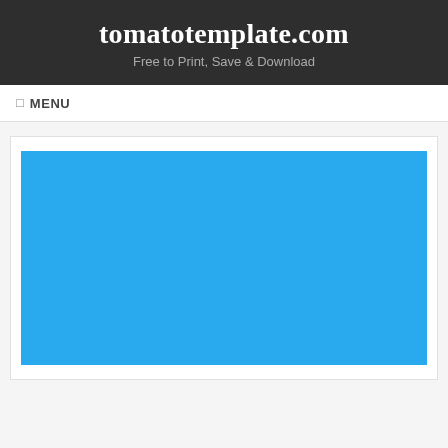tomatotemplate.com
Free to Print, Save & Download
☰ MENU
[Figure (other): A solid blue rectangle placeholder image]